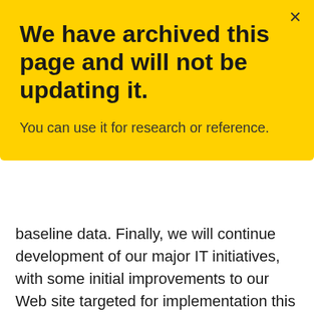We have archived this page and will not be updating it.
You can use it for research or reference.
baseline data. Finally, we will continue development of our major IT initiatives, with some initial improvements to our Web site targeted for implementation this year.
We have identified several priorities for the next year. These include: